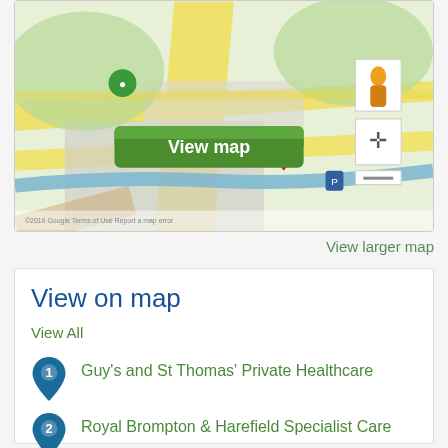[Figure (map): Google Maps screenshot showing a location with a red pin marker, blurred streets, green areas, and a 'View map' green button overlay. Map controls visible on the right side including a person icon and navigation controls.]
View larger map
View on map
View All
Guy's and St Thomas' Private Healthcare
Royal Brompton & Harefield Specialist Care